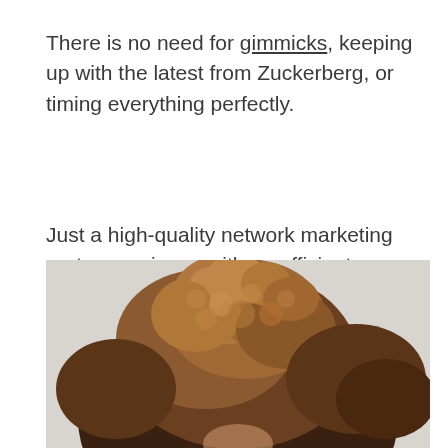There is no need for gimmicks, keeping up with the latest from Zuckerberg, or timing everything perfectly.
Just a high-quality network marketing party experience with an efficient system set up in an afternoon.
[Figure (photo): A person with voluminous curly hair, photographed from above/behind against a light gray background. Only the top of the head and hair is visible.]